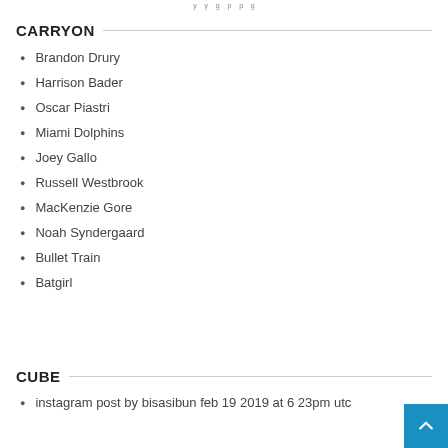...y ...y ...g ...p ...p ...g
CARRYON
Brandon Drury
Harrison Bader
Oscar Piastri
Miami Dolphins
Joey Gallo
Russell Westbrook
MacKenzie Gore
Noah Syndergaard
Bullet Train
Batgirl
CUBE
instagram post by bisasibun feb 19 2019 at 6 23pm utc